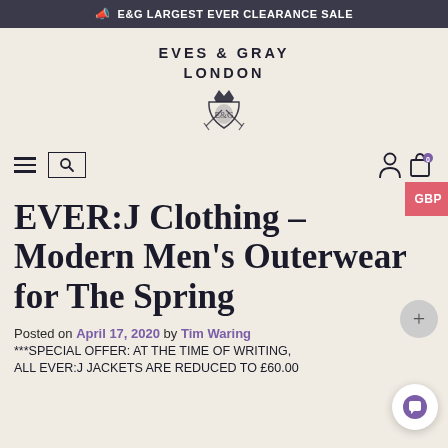E&G LARGEST EVER CLEARANCE SALE
[Figure (logo): Eves & Gray London logo with crest emblem]
EVER:J Clothing – Modern Men's Outerwear for The Spring
Posted on April 17, 2020 by Tim Waring
***SPECIAL OFFER: AT THE TIME OF WRITING, ALL EVER:J JACKETS ARE REDUCED TO £60.00